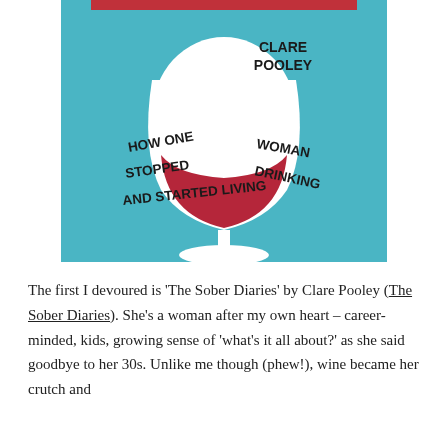[Figure (illustration): Book cover of 'The Sober Diaries' by Clare Pooley. Teal/blue background with a large illustrated wine glass containing red wine. Text on cover reads 'CLARE POOLEY' and 'HOW ONE WOMAN STOPPED DRINKING AND STARTED LIVING' in handwritten-style black lettering. A red horizontal bar appears at the top.]
The first I devoured is 'The Sober Diaries' by Clare Pooley (The Sober Diaries). She's a woman after my own heart – career-minded, kids, growing sense of 'what's it all about?' as she said goodbye to her 30s. Unlike me though (phew!), wine became her crutch and